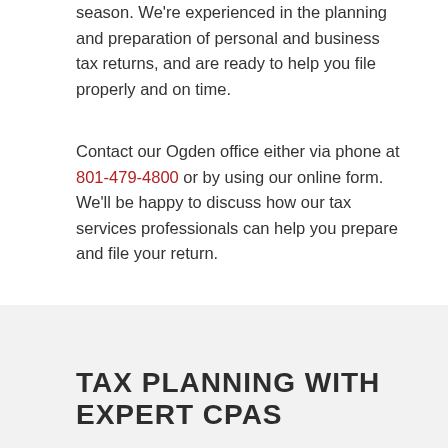season. We're experienced in the planning and preparation of personal and business tax returns, and are ready to help you file properly and on time.
Contact our Ogden office either via phone at 801-479-4800 or by using our online form. We'll be happy to discuss how our tax services professionals can help you prepare and file your return.
TAX PLANNING WITH EXPERT CPAS